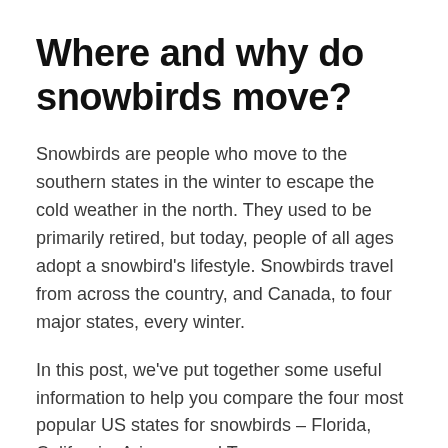Where and why do snowbirds move?
Snowbirds are people who move to the southern states in the winter to escape the cold weather in the north. They used to be primarily retired, but today, people of all ages adopt a snowbird's lifestyle. Snowbirds travel from across the country, and Canada, to four major states, every winter.
In this post, we've put together some useful information to help you compare the four most popular US states for snowbirds – Florida, California, Arizona, and Texas.
Snowbirds love Florida